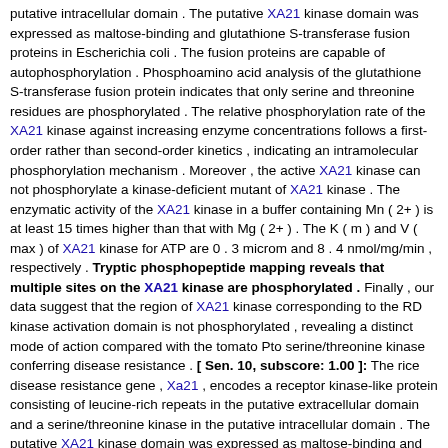putative intracellular domain . The putative XA21 kinase domain was expressed as maltose-binding and glutathione S-transferase fusion proteins in Escherichia coli . The fusion proteins are capable of autophosphorylation . Phosphoamino acid analysis of the glutathione S-transferase fusion protein indicates that only serine and threonine residues are phosphorylated . The relative phosphorylation rate of the XA21 kinase against increasing enzyme concentrations follows a first-order rather than second-order kinetics , indicating an intramolecular phosphorylation mechanism . Moreover , the active XA21 kinase can not phosphorylate a kinase-deficient mutant of XA21 kinase . The enzymatic activity of the XA21 kinase in a buffer containing Mn ( 2+ ) is at least 15 times higher than that with Mg ( 2+ ) . The K ( m ) and V ( max ) of XA21 kinase for ATP are 0 . 3 microm and 8 . 4 nmol/mg/min , respectively . Tryptic phosphopeptide mapping reveals that multiple sites on the XA21 kinase are phosphorylated . Finally , our data suggest that the region of XA21 kinase corresponding to the RD kinase activation domain is not phosphorylated , revealing a distinct mode of action compared with the tomato Pto serine/threonine kinase conferring disease resistance . [ Sen. 10, subscore: 1.00 ]: The rice disease resistance gene , Xa21 , encodes a receptor kinase-like protein consisting of leucine-rich repeats in the putative extracellular domain and a serine/threonine kinase in the putative intracellular domain . The putative XA21 kinase domain was expressed as maltose-binding and glutathione S-transferase fusion proteins in Escherichia coli . The fusion proteins are capable of autophosphorylation . Phosphoamino acid analysis of the glutathione S-transferase fusion protein indicates that only serine and threonine residues are phosphorylated . The relative phosphorylation rate of the XA21 kinase against increasing enzyme concentrations follows a first-order rather than second-order kinetics , indicating an intramolecular phosphorylation mechanism . Moreover , the active XA21 kinase can not